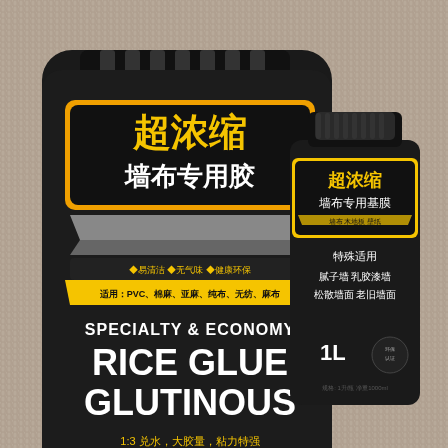[Figure (photo): Product photo showing two items on a grey fluffy carpet/rug background: (1) A large black packaging bag labeled '超浓缩 墙布专用胶' (Super Concentrated Wall Fabric Special Glue) with yellow Chinese characters, displaying 'SPECIALTY & ECONOMY RICE GLUE GLUTINOUS' in white English text, with details in Chinese about 1:3 water ratio and natural plant extraction; (2) A black plastic bottle labeled '超浓缩 墙布专用基膜' (Super Concentrated Wall Fabric Special Base Film) with Chinese text listing applications: 腻子墙 乳胶漆墙 松散墙面 老旧墙面, and showing '1L' capacity.]